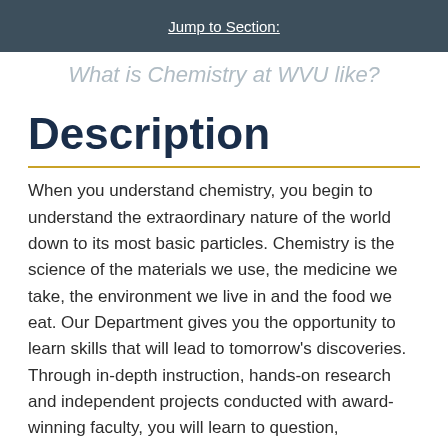Jump to Section:
What is Chemistry at WVU like?
Description
When you understand chemistry, you begin to understand the extraordinary nature of the world down to its most basic particles. Chemistry is the science of the materials we use, the medicine we take, the environment we live in and the food we eat. Our Department gives you the opportunity to learn skills that will lead to tomorrow's discoveries. Through in-depth instruction, hands-on research and independent projects conducted with award-winning faculty, you will learn to question, experiment and innovate.